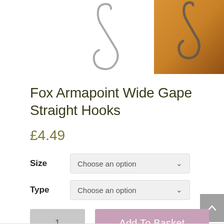[Figure (photo): Product images showing Fox Armapoint Wide Gape Straight Hook: outline/illustration on left, close-up photo on right with amber/gold colored background]
Fox Armapoint Wide Gape Straight Hooks
£4.49
Size  Choose an option
Type  Choose an option
1  Add To Basket